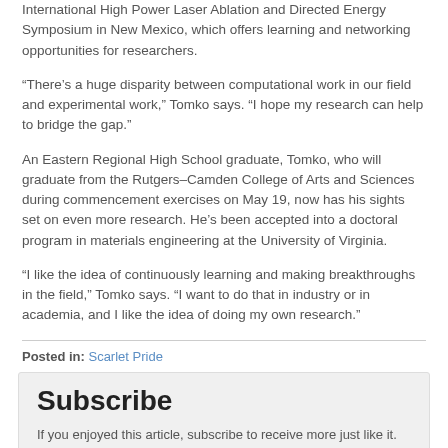International High Power Laser Ablation and Directed Energy Symposium in New Mexico, which offers learning and networking opportunities for researchers.
“There’s a huge disparity between computational work in our field and experimental work,” Tomko says. “I hope my research can help to bridge the gap.”
An Eastern Regional High School graduate, Tomko, who will graduate from the Rutgers–Camden College of Arts and Sciences during commencement exercises on May 19, now has his sights set on even more research. He’s been accepted into a doctoral program in materials engineering at the University of Virginia.
“I like the idea of continuously learning and making breakthroughs in the field,” Tomko says. “I want to do that in industry or in academia, and I like the idea of doing my own research.”
Posted in: Scarlet Pride
Subscribe
If you enjoyed this article, subscribe to receive more just like it.